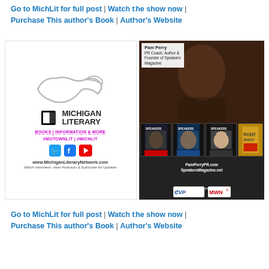Go to MichLit for full post | Watch the show now | Purchase This author's Book | Author's Website
[Figure (logo): Michigan Literary Network logo with Michigan state outline silhouette, open book icon, text MICHIGAN LITERARY, BOOKS | INFORMATION & MORE, #MOTOWNLIT | #MICHLIT, social media icons (Twitter, Facebook, YouTube), www.MichiganLiteraryNetwork.com, Watch Interviews, Hear Podcasts & Subscribe for Updates]
[Figure (photo): Pam Perry, PR Coach, Author & Founder of Speakers Magazine. Photo of smiling woman with Speakers Magazine covers and a book. PamPerryPR.com, SpeakersMagazine.net. Brought to you by CVP and MWN logos.]
Go to MichLit for full post | Watch the show now | Purchase This author's Book | Author's Website